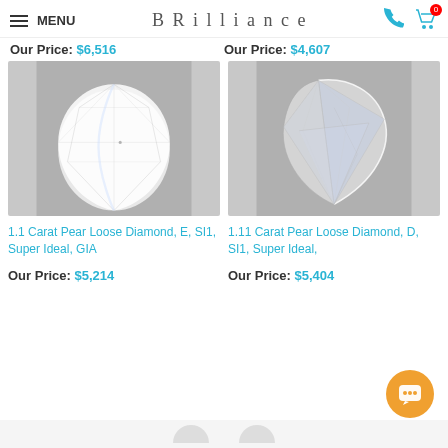MENU | BRILLIANCE
Our Price: $6,516   Our Price: $4,607
[Figure (photo): Pear-shaped loose diamond photographed from above on grey background]
[Figure (photo): Pear-shaped loose diamond photographed from the side on grey background]
1.1 Carat Pear Loose Diamond, E, SI1, Super Ideal, GIA
1.11 Carat Pear Loose Diamond, D, SI1, Super Ideal,
Our Price: $5,214
Our Price: $5,404